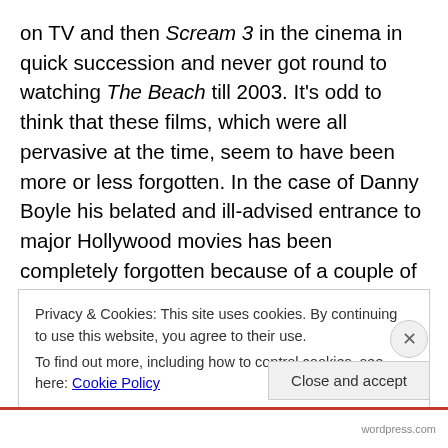on TV and then Scream 3 in the cinema in quick succession and never got round to watching The Beach till 2003. It's odd to think that these films, which were all pervasive at the time, seem to have been more or less forgotten. In the case of Danny Boyle his belated and ill-advised entrance to major Hollywood movies has been completely forgotten because of a couple of belting truly Alex Garland scripted movies since, and an Oscar for Slumdog Millionaire. The Beach also represented after the American Psycho debacle DiCaprio's attempt to make a post-Titanic film that proved he could act. He's long since
Privacy & Cookies: This site uses cookies. By continuing to use this website, you agree to their use.
To find out more, including how to control cookies, see here: Cookie Policy